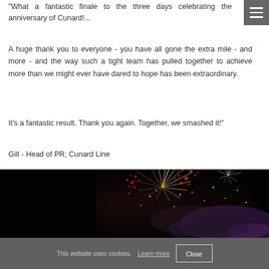"What a fantastic finale to the three days celebrating the anniversary of Cunard!...
A huge thank you to everyone - you have all gone the extra mile - and more - and the way such a tight team has pulled together to achieve more than we might ever have dared to hope has been extraordinary.
It's a fantastic result. Thank you again. Together, we smashed it!"
Gill - Head of PR; Cunard Line
[Figure (photo): Fireworks display against a dark night sky, with colorful bursts of red, gold, white, and purple fireworks.]
This website uses cookies. Learn more   Close